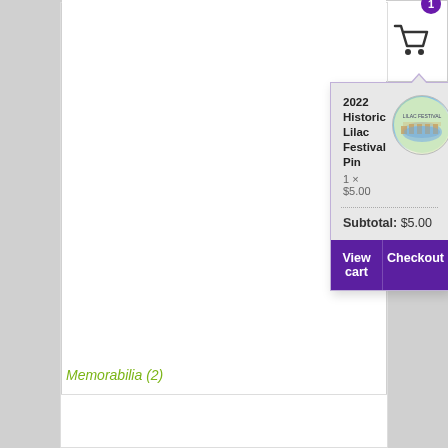[Figure (screenshot): Shopping cart icon with badge showing count of 1, purple badge in top right corner of white box]
[Figure (screenshot): Shopping cart dropdown popup showing: product '2022 Historic Lilac Festival Pin', quantity 1 × $5.00, circular product thumbnail, dotted divider, Subtotal: $5.00, and two purple buttons: View cart and Checkout]
Memorabilia (2)
[Figure (screenshot): White content panel at bottom, partially visible]